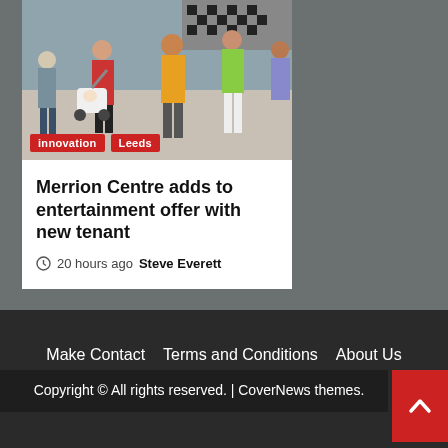[Figure (photo): Street scene with people walking, including someone pushing a pram/stroller, in what appears to be a shopping centre environment]
innovation  Leeds
Merrion Centre adds to entertainment offer with new tenant
20 hours ago  Steve Everett
Make Contact    Terms and Conditions    About Us    Subscribe to email alerts
Copyright © All rights reserved. | CoverNews themes.